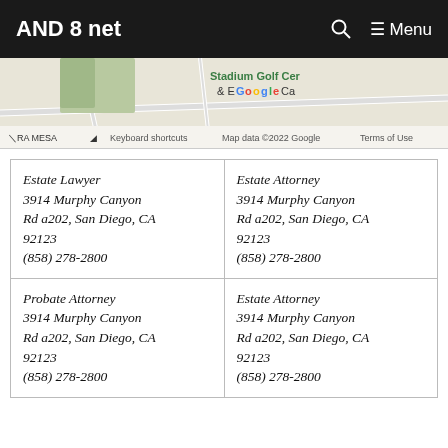AND 8 net
[Figure (map): Partial Google Map showing Serra Mesa area, Stadium Golf Center, Google logo, keyboard shortcuts, map data 2022 Google, Terms of Use]
| Estate Lawyer
3914 Murphy Canyon Rd a202, San Diego, CA 92123
(858) 278-2800 | Estate Attorney
3914 Murphy Canyon Rd a202, San Diego, CA 92123
(858) 278-2800 |
| Probate Attorney
3914 Murphy Canyon Rd a202, San Diego, CA 92123
(858) 278-2800 | Estate Attorney
3914 Murphy Canyon Rd a202, San Diego, CA 92123
(858) 278-2800 |